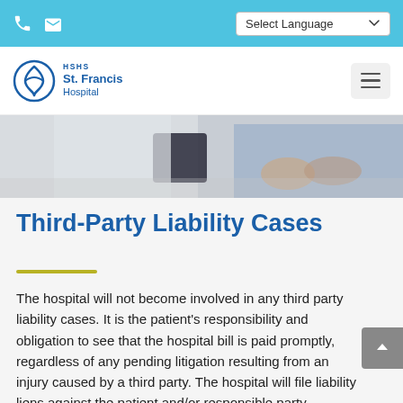HSHS St. Francis Hospital — Select Language
[Figure (photo): Hero image showing two people, one in white coat holding a tablet and another in blue sweater with hands clasped, in a medical consultation setting]
Third-Party Liability Cases
The hospital will not become involved in any third party liability cases. It is the patient's responsibility and obligation to see that the hospital bill is paid promptly, regardless of any pending litigation resulting from an injury caused by a third party. The hospital will file liability liens against the patient and/or responsible party whenever